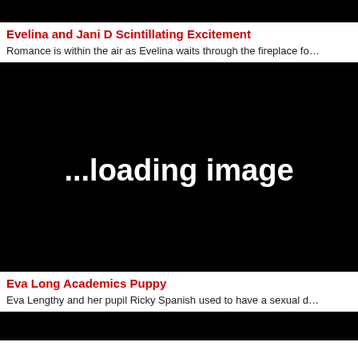[Figure (other): Black bar at top of page]
Evelina and Jani D Scintillating Excitement
Romance is within the air as Evelina waits through the fireplace fo…
[Figure (other): Black image placeholder with text '...loading image']
Eva Long Academics Puppy
Eva Lengthy and her pupil Ricky Spanish used to have a sexual d…
[Figure (other): Black bar/image at bottom of page]